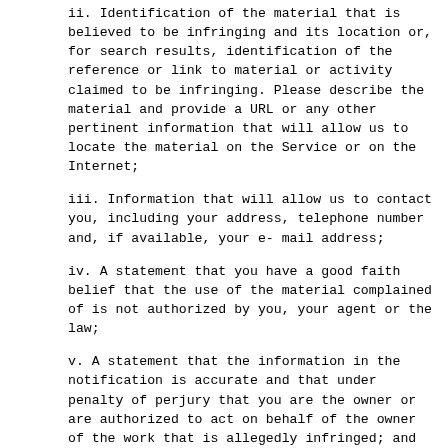ii. Identification of the material that is believed to be infringing and its location or, for search results, identification of the reference or link to material or activity claimed to be infringing. Please describe the material and provide a URL or any other pertinent information that will allow us to locate the material on the Service or on the Internet;
iii. Information that will allow us to contact you, including your address, telephone number and, if available, your e-mail address;
iv. A statement that you have a good faith belief that the use of the material complained of is not authorized by you, your agent or the law;
v. A statement that the information in the notification is accurate and that under penalty of perjury that you are the owner or are authorized to act on behalf of the owner of the work that is allegedly infringed; and
vi. A physical or electronic signature from the copyright holder or an authorized representative.